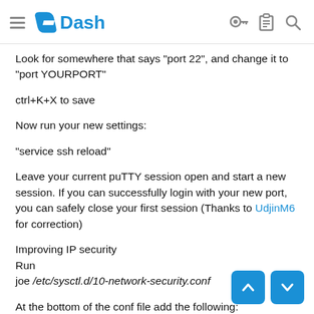Dash
Look for somewhere that says "port 22", and change it to "port YOURPORT"
ctrl+K+X to save
Now run your new settings:
"service ssh reload"
Leave your current puTTY session open and start a new session. If you can successfully login with your new port, you can safely close your first session (Thanks to UdjinM6 for correction)
Improving IP security
Run
joe /etc/sysctl.d/10-network-security.conf
At the bottom of the conf file add the following:
"
# Ignore ICMP broadcast requests